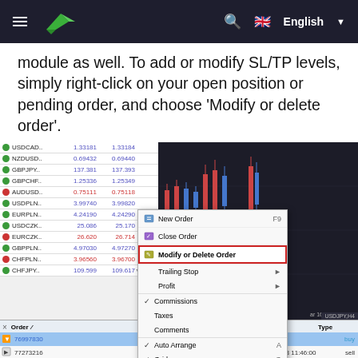TraderEvolution (hamburger menu, logo, search, English language selector)
module as well. To add or modify SL/TP levels, simply right-click on your open position or pending order, and choose ‘Modify or delete order’.
[Figure (screenshot): MetaTrader-style trading platform screenshot showing a watchlist with currency pairs (USDCAD 1.33181/1.33184, NZDUSD 0.69432/0.69440, GBPJPY 137.381/137.393, GBPCHF 1.25336/1.25349, AUDUSD 0.75111/0.75118, USDPLN 3.99740/3.99820, EURPLN 4.24190/4.24290, USDCZK 25.086/25.170, EURCZK 26.620/26.714, GBPPLN 4.97030/4.97270, CHFPLN 3.96560/3.96700, CHFJPY 109.599/109.617), a candlestick chart, and a right-click context menu with options: New Order (F9), Close Order, Modify or Delete Order (highlighted with red border), Trailing Stop, Profit, Commissions, Taxes, Comments, Auto Arrange (A), Grid (G). Bottom order panel shows orders 76997830 (buy) and 77273216 (sell, 2017.04.03 11:46:00), and a status bar: Balance: 97 727.70 GBP Equity: 99 634.52 Margin: 1 020.01 Free margin: 96 707.69 Margin level: 9767.]